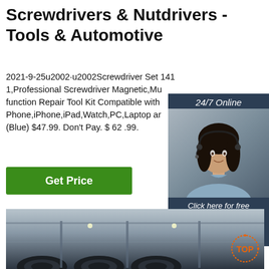Screwdrivers & Nutdrivers - Tools & Automotive
2021-9-25u2002·u2002Screwdriver Set 141 1,Professional Screwdriver Magnetic,Mu function Repair Tool Kit Compatible with Phone,iPhone,iPad,Watch,PC,Laptop ar (Blue) $47.99. Don't Pay. $ 62 .99.
[Figure (other): Green 'Get Price' button]
[Figure (other): Customer service chat widget with '24/7 Online' label, photo of female agent with headset, 'Click here for free chat!' text, and orange 'QUOTATION' button]
[Figure (photo): Industrial factory/warehouse interior showing steel coils and overhead structure]
[Figure (logo): Orange 'TOP' badge logo in bottom right corner]